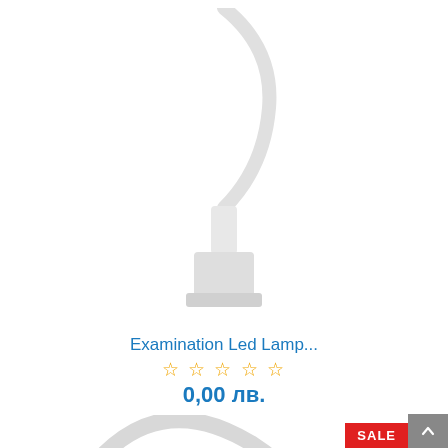[Figure (photo): White examination LED lamp with flexible neck and base, partial view showing the base and curved white arm against white background]
Examination Led Lamp...
☆ ☆ ☆ ☆ ☆
0,00 лв.
[Figure (photo): White examination LED lamp with circular flexible arm and teal/white lamp head, partial view from bottom, with SALE badge]